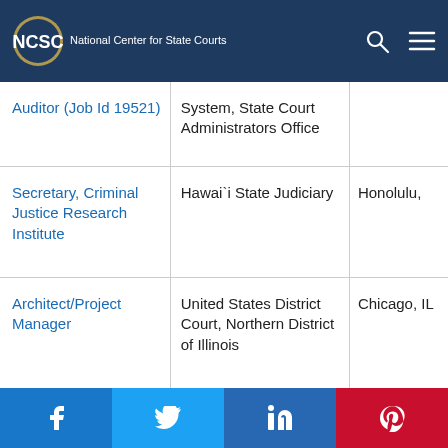NCSC — National Center for State Courts
| Job Title | Organization | Location |
| --- | --- | --- |
| Auditor (Job Id 19521) | System, State Court Administrators Office |  |
| Secretary, Criminal Justice Research Institute | Hawai`i State Judiciary | Honolulu, |
| Architect/Project Manager | United States District Court, Northern District of Illinois | Chicago, IL |
Facebook | Twitter | LinkedIn | Pinterest